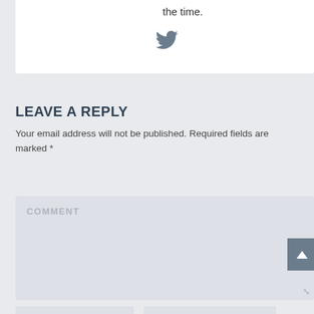the time.
[Figure (illustration): Twitter bird icon in dark grey]
LEAVE A REPLY
Your email address will not be published. Required fields are marked *
COMMENT
NAME *
EMAIL *